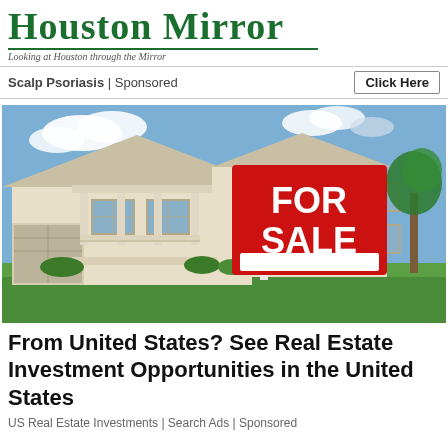Houston Mirror — Looking at Houston through the Mirror
Scalp Psoriasis | Sponsored   Click Here
[Figure (photo): A suburban two-story house with a red 'FOR SALE' sign in the front yard.]
From United States? See Real Estate Investment Opportunities in the United States
US Real Estate Investments | Search Ads | Sponsored